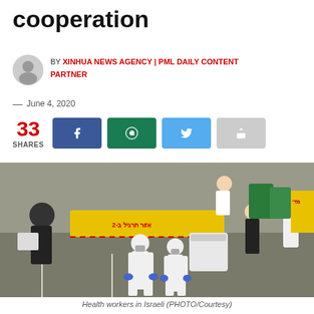cooperation
BY XINHUA NEWS AGENCY | PML DAILY CONTENT PARTNER
— June 4, 2020
33 SHARES
[Figure (photo): Health workers in Israeli PPE suits and regular staff in a parking area with yellow barrier gate]
Health workers in Israeli (PHOTO/Courtesy)